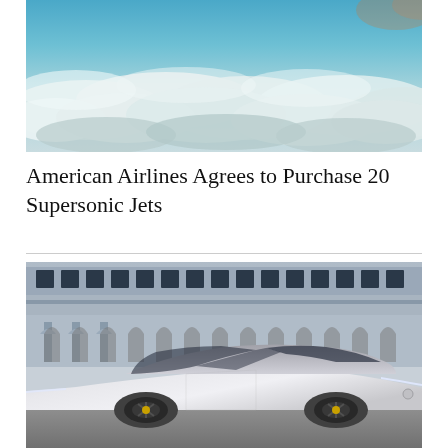[Figure (photo): Aerial view of clouds from above, with a teal/blue sky visible above and dense white cloud cover below]
American Airlines Agrees to Purchase 20 Supersonic Jets
[Figure (photo): A futuristic silver/white concept car parked in front of a large classical building with arched colonnades and multiple stories of windows]